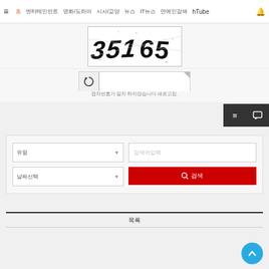≡  홈  엔터테인먼트  영화/드라마  시사/교양  뉴스  IT뉴스  연예인검색  hTube  🔔
[Figure (screenshot): CAPTCHA image showing distorted numbers/text in black ink]
[Figure (screenshot): CAPTCHA refresh button and text input field with corner tab]
캡차번호가 일치 하지않습니다 새로고침.
[Figure (screenshot): Dark toolbar with hamburger menu and chat bubble icons]
[Figure (screenshot): Search card with category dropdown, text input, date dropdown, and red search button]
목록
[Figure (screenshot): Blue circular back-to-top arrow button]